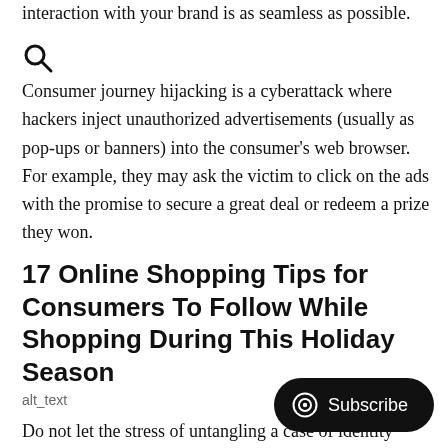interaction with your brand is as seamless as possible.
[Figure (illustration): Search/magnifying glass icon]
Consumer journey hijacking is a cyberattack where hackers inject unauthorized advertisements (usually as pop-ups or banners) into the consumer's web browser. For example, they may ask the victim to click on the ads with the promise to secure a great deal or redeem a prize they won.
17 Online Shopping Tips for Consumers To Follow While Shopping During This Holiday Season
[Figure (photo): alt_text image placeholder]
[Figure (other): Subscribe button with circular icon]
Do not let the stress of untangling a case of identity